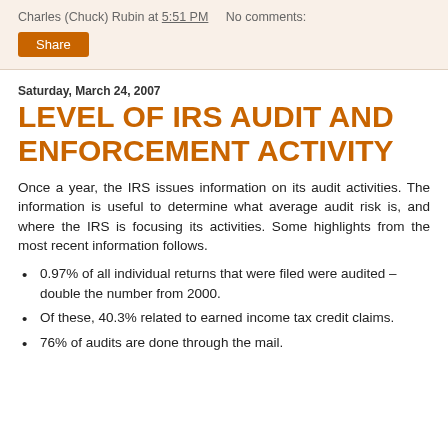Charles (Chuck) Rubin at 5:51 PM   No comments:
Share
Saturday, March 24, 2007
LEVEL OF IRS AUDIT AND ENFORCEMENT ACTIVITY
Once a year, the IRS issues information on its audit activities. The information is useful to determine what average audit risk is, and where the IRS is focusing its activities. Some highlights from the most recent information follows.
0.97% of all individual returns that were filed were audited – double the number from 2000.
Of these, 40.3% related to earned income tax credit claims.
76% of audits are done through the mail.